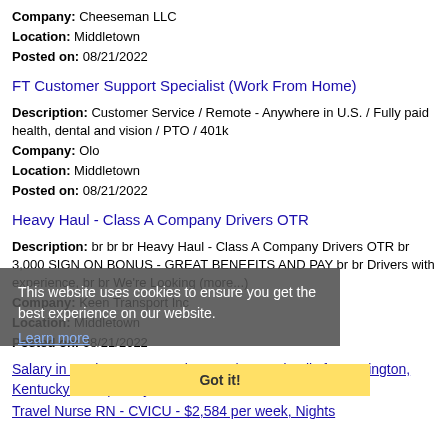Company: Cheeseman LLC
Location: Middletown
Posted on: 08/21/2022
FT Customer Support Specialist (Work From Home)
Description: Customer Service / Remote - Anywhere in U.S. / Fully paid health, dental and vision / PTO / 401k
Company: Olo
Location: Middletown
Posted on: 08/21/2022
Heavy Haul - Class A Company Drivers OTR
Description: br br br Heavy Haul - Class A Company Drivers OTR br 3,000 SIGN ON BONUS - GREAT BENEFITS AND PAY br br Drivers with experience, br br We're Looking (more...)
Company: Keen Transport Inc
Location: Middletown
Posted on: 08/21/2022
This website uses cookies to ensure you get the best experience on our website.
Learn more
Got it!
Salary in Covington, Kentucky Area | More details for Covington, Kentucky Jobs |Salary
Travel Nurse RN - CVICU - $2,584 per week, Nights